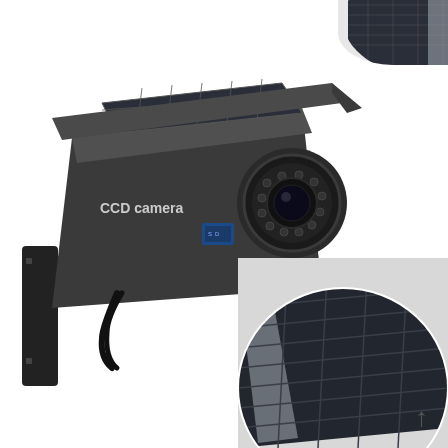[Figure (photo): A dark grey/black solar-powered dummy CCD security camera mounted on a wall bracket. The camera has 'CCD camera' text on its body and a visible lens array. It is wall-mounted with a metal bracket.]
[Figure (photo): Close-up circular crop of a solar panel showing its dark blue-black photovoltaic cells with silver grid lines, partially overlapping the bottom-right corner of the page.]
[Figure (photo): Small circular crop of a solar panel visible in the top-right corner of the page.]
Solar charging board
Can be used by the sun to store the electricity in the battery for use by the monitor.